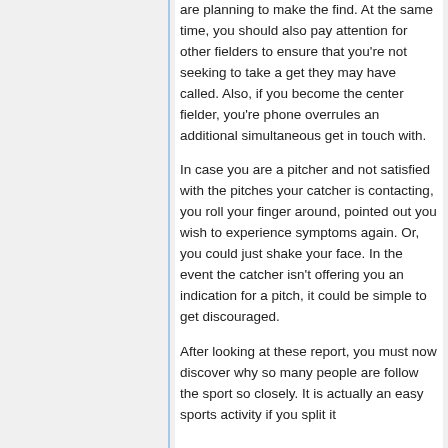are planning to make the find. At the same time, you should also pay attention for other fielders to ensure that you're not seeking to take a get they may have called. Also, if you become the center fielder, you're phone overrules an additional simultaneous get in touch with.
In case you are a pitcher and not satisfied with the pitches your catcher is contacting, you roll your finger around, pointed out you wish to experience symptoms again. Or, you could just shake your face. In the event the catcher isn't offering you an indication for a pitch, it could be simple to get discouraged.
After looking at these report, you must now discover why so many people are follow the sport so closely. It is actually an easy sports activity if you split it